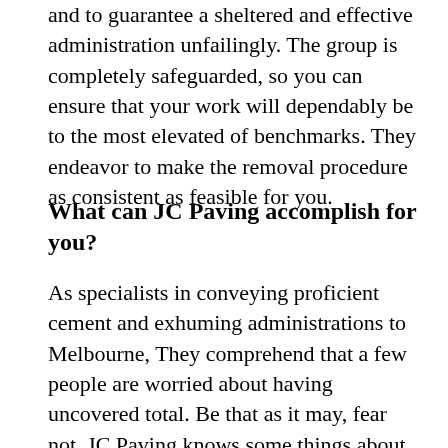and to guarantee a sheltered and effective administration unfailingly. The group is completely safeguarded, so you can ensure that your work will dependably be to the most elevated of benchmarks. They endeavor to make the removal procedure as consistent as feasible for you.
What can JC Paving accomplish for you?
As specialists in conveying proficient cement and exhuming administrations to Melbourne, They comprehend that a few people are worried about having uncovered total. Be that as it may, fear not, JC Paving knows some things about amplifying the fresh start, transforming your uncovered total into a great and up-to-date asphalt to suit